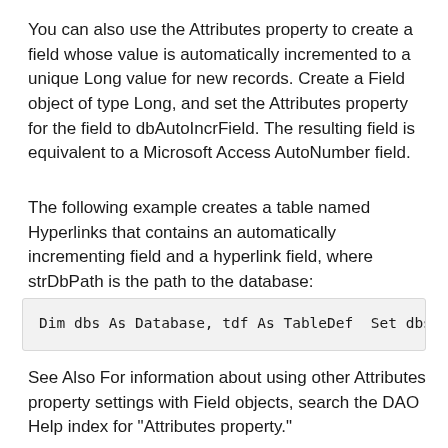You can also use the Attributes property to create a field whose value is automatically incremented to a unique Long value for new records. Create a Field object of type Long, and set the Attributes property for the field to dbAutoIncrField. The resulting field is equivalent to a Microsoft Access AutoNumber field.
The following example creates a table named Hyperlinks that contains an automatically incrementing field and a hyperlink field, where strDbPath is the path to the database:
Dim dbs As Database, tdf As TableDef  Set dbs =
See Also For information about using other Attributes property settings with Field objects, search the DAO Help index for "Attributes property."